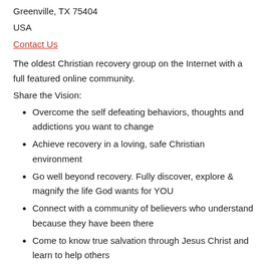Greenville, TX 75404
USA
Contact Us
The oldest Christian recovery group on the Internet with a full featured online community.
Share the Vision:
Overcome the self defeating behaviors, thoughts and addictions you want to change
Achieve recovery in a loving, safe Christian environment
Go well beyond recovery. Fully discover, explore & magnify the life God wants for YOU
Connect with a community of believers who understand because they have been there
Come to know true salvation through Jesus Christ and learn to help others
✝ Alcoholics Victorious
23763 West Yavanai St.